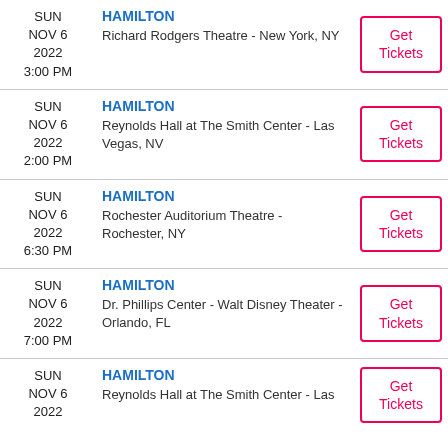SUN NOV 6 2022 3:00 PM | HAMILTON | Richard Rodgers Theatre - New York, NY
SUN NOV 6 2022 2:00 PM | HAMILTON | Reynolds Hall at The Smith Center - Las Vegas, NV
SUN NOV 6 2022 6:30 PM | HAMILTON | Rochester Auditorium Theatre - Rochester, NY
SUN NOV 6 2022 7:00 PM | HAMILTON | Dr. Phillips Center - Walt Disney Theater - Orlando, FL
SUN NOV 6 2022 | HAMILTON | Reynolds Hall at The Smith Center - Las Vegas